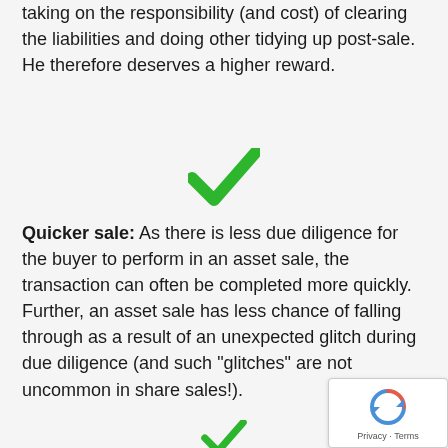taking on the responsibility (and cost) of clearing the liabilities and doing other tidying up post-sale. He therefore deserves a higher reward.
[Figure (illustration): Green checkmark icon]
Quicker sale: As there is less due diligence for the buyer to perform in an asset sale, the transaction can often be completed more quickly. Further, an asset sale has less chance of falling through as a result of an unexpected glitch during due diligence (and such "glitches" are not uncommon in share sales!).
[Figure (illustration): Partial green checkmark icon at bottom of page]
[Figure (screenshot): reCAPTCHA privacy badge in bottom-right corner showing recycling arrows icon with 'Privacy · Terms' text]